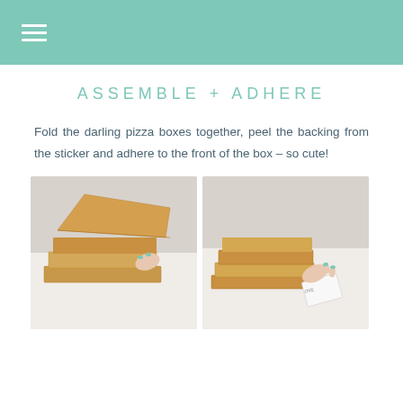≡
ASSEMBLE + ADHERE
Fold the darling pizza boxes together, peel the backing from the sticker and adhere to the front of the box – so cute!
[Figure (photo): Hands with teal nail polish folding open a kraft paper pizza box, with a stack of unassembled boxes in the background]
[Figure (photo): Hands with teal nail polish peeling the backing from a sticker to adhere to the front of a kraft paper pizza box, with a stack of assembled boxes in the background]